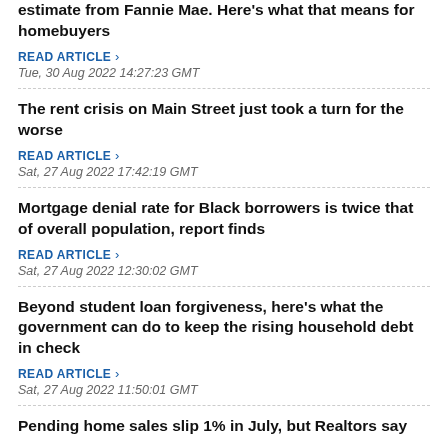estimate from Fannie Mae. Here's what that means for homebuyers
READ ARTICLE ›
Tue, 30 Aug 2022 14:27:23 GMT
The rent crisis on Main Street just took a turn for the worse
READ ARTICLE ›
Sat, 27 Aug 2022 17:42:19 GMT
Mortgage denial rate for Black borrowers is twice that of overall population, report finds
READ ARTICLE ›
Sat, 27 Aug 2022 12:30:02 GMT
Beyond student loan forgiveness, here's what the government can do to keep the rising household debt in check
READ ARTICLE ›
Sat, 27 Aug 2022 11:50:01 GMT
Pending home sales slip 1% in July, but Realtors say